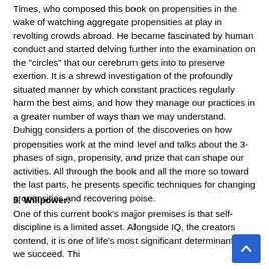Times, who composed this book on propensities in the wake of watching aggregate propensities at play in revolting crowds abroad. He became fascinated by human conduct and started delving further into the examination on the "circles" that our cerebrum gets into to preserve exertion. It is a shrewd investigation of the profoundly situated manner by which constant practices regularly harm the best aims, and how they manage our practices in a greater number of ways than we may understand. Duhigg considers a portion of the discoveries on how propensities work at the mind level and talks about the 3-phases of sign, propensity, and prize that can shape our activities. All through the book and all the more so toward the last parts, he presents specific techniques for changing propensities and recovering poise.
5. Willpower:
One of this current book's major premises is that self-discipline is a limited asset. Alongside IQ, the creators contend, it is one of life's most significant determinants of if we succeed. Thi